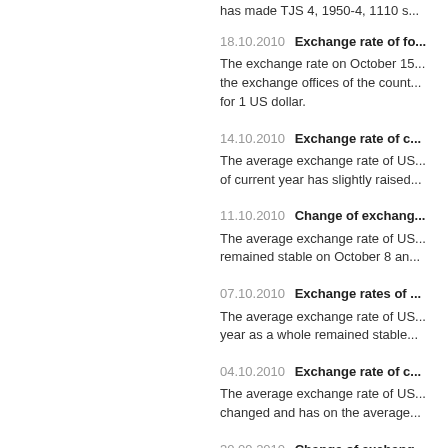has made TJS 4, 1950-4, 1110 s...
18.10.2010  Exchange rate of fo...
The exchange rate on October 15... the exchange offices of the count... for 1 US dollar.
14.10.2010  Exchange rate of c...
The average exchange rate of US... of current year has slightly raised...
11.10.2010  Change of exchang...
The average exchange rate of US... remained stable on October 8 an...
07.10.2010  Exchange rates of ...
The average exchange rate of US... year as a whole remained stable...
04.10.2010  Exchange rate of c...
The average exchange rate of US... changed and has on the average...
30.09.2010  Change of exchang...
On 28-29 September the average... TJS 4, 4600-4, 4650.
27.09.2010  Exchange rate of c...